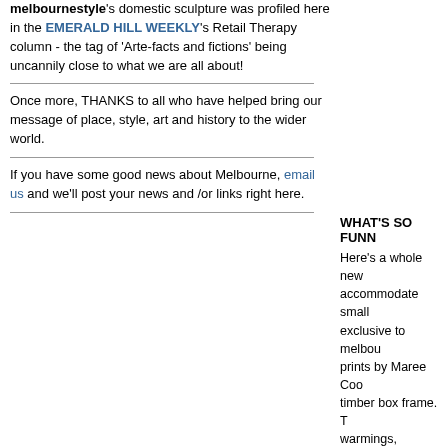melbournestyle's domestic sculpture was profiled here in the EMERALD HILL WEEKLY's Retail Therapy column - the tag of 'Arte-facts and fictions' being uncannily close to what we are all about!
Once more, THANKS to all who have helped bring our message of place, style, art and history to the wider world.
If you have some good news about Melbourne, email us and we'll post your news and /or links right here.
WHAT'S SO FUNN...
Here's a whole new... accommodate small... exclusive to melbou... prints by Maree Coo... timber box frame. T... warmings, weddings... occasions. See them...
POSTCARDS FRO...
Say G'DAY with a p... friendly, and fun. It's... gives the Postie som... wouldn't you?). Rem... they need to hear fro... created 10-Packs of...